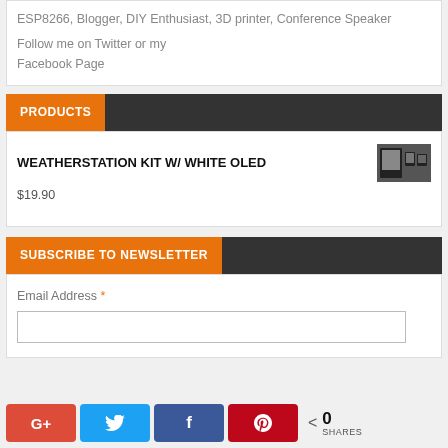ESP8266, Blogger, DIY Enthusiast, 3D printer, Conference Speaker
Follow me on Twitter or my Facebook Page
PRODUCTS
WEATHERSTATION KIT W/ WHITE OLED
$19.90
SUBSCRIBE TO NEWSLETTER
Email Address *